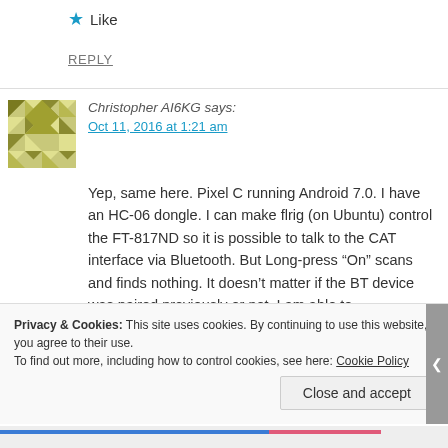★ Like
REPLY
Christopher AI6KG says:
Oct 11, 2016 at 1:21 am
Yep, same here. Pixel C running Android 7.0. I have an HC-06 dongle. I can make flrig (on Ubuntu) control the FT-817ND so it is possible to talk to the CAT interface via Bluetooth. But Long-press “On” scans and finds nothing. It doesn’t matter if the BT device was paired previously or not. I am able to
Privacy & Cookies: This site uses cookies. By continuing to use this website, you agree to their use.
To find out more, including how to control cookies, see here: Cookie Policy
Close and accept